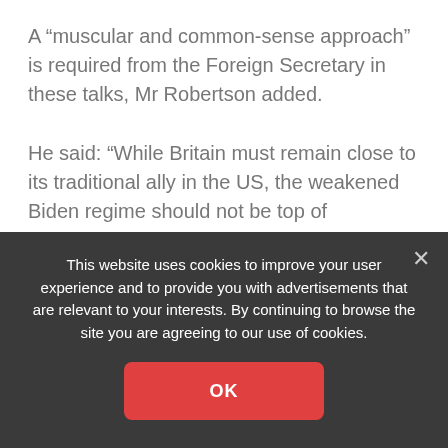A “muscular and common-sense approach” is required from the Foreign Secretary in these talks, Mr Robertson added.
He said: “While Britain must remain close to its traditional ally in the US, the weakened Biden regime should not be top of Johnson’s list when it comes to international endeavours.
“On security issues, Britain has been provided with the
This website uses cookies to improve your user experience and to provide you with advertisements that are relevant to your interests. By continuing to browse the site you are agreeing to our use of cookies.